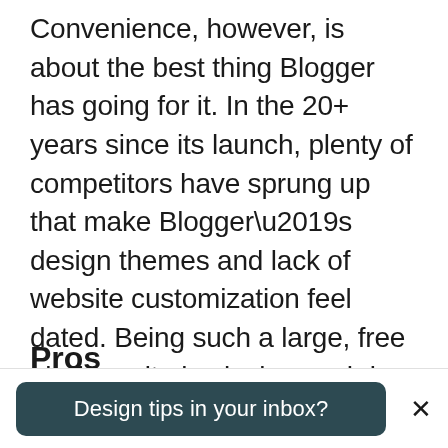Convenience, however, is about the best thing Blogger has going for it. In the 20+ years since its launch, plenty of competitors have sprung up that make Blogger’s design themes and lack of website customization feel dated. Being such a large, free platform, it also lacks much in the way of support, outside of its FAQ help center. But Blogger was envisioned as a way to start publishing on the Internet right away at no cost, and it still accomplishes this goal exceptionally well.
Pros
Design tips in your inbox?